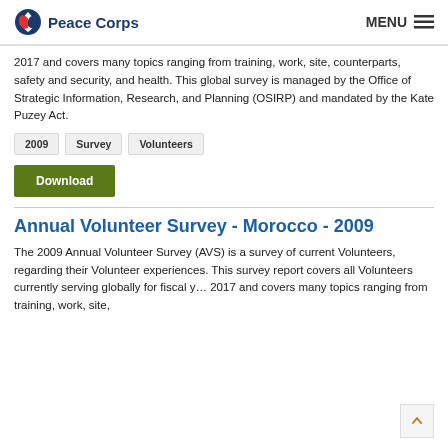Peace Corps | MENU
2017 and covers many topics ranging from training, work, site, counterparts, safety and security, and health. This global survey is managed by the Office of Strategic Information, Research, and Planning (OSIRP) and mandated by the Kate Puzey Act.
2009
Survey
Volunteers
Download
Annual Volunteer Survey - Morocco - 2009
The 2009 Annual Volunteer Survey (AVS) is a survey of current Volunteers, regarding their Volunteer experiences. This survey report covers all Volunteers currently serving globally for fiscal y… 2017 and covers many topics ranging from training, work, site,